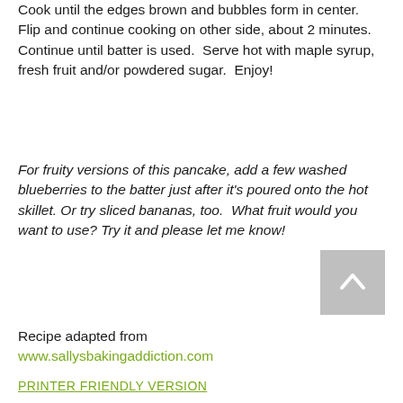Cook until the edges brown and bubbles form in center. Flip and continue cooking on other side, about 2 minutes.  Continue until batter is used.  Serve hot with maple syrup, fresh fruit and/or powdered sugar.  Enjoy!
For fruity versions of this pancake, add a few washed blueberries to the batter just after it's poured onto the hot skillet. Or try sliced bananas, too.  What fruit would you want to use? Try it and please let me know!
Recipe adapted from www.sallysbakingaddiction.com
PRINTER FRIENDLY VERSION